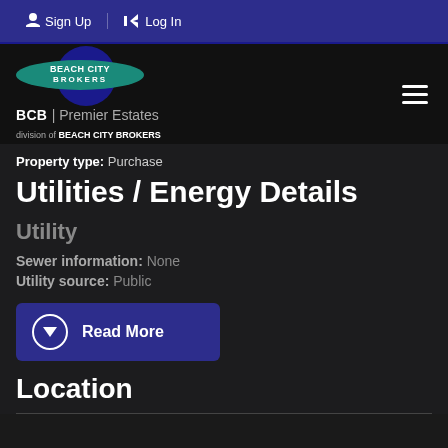Sign Up  Log In
[Figure (logo): Beach City Brokers logo with BCB Premier Estates branding, division of Beach City Brokers]
Property type: Purchase
Utilities / Energy Details
Utility
Sewer information: None
Utility source: Public
Read More
Location